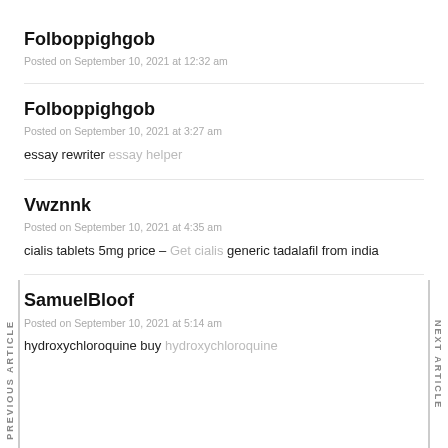Folboppighgob
Posted on September 10, 2021 at 12:32 am
Folboppighgob
Posted on September 10, 2021 at 3:27 am
essay rewriter essay helper
Vwznnk
Posted on September 10, 2021 at 4:35 am
cialis tablets 5mg price – Get cialis generic tadalafil from india
SamuelBloof
Posted on September 10, 2021 at 5:14 am
hydroxychloroquine buy hydroxychloroquine